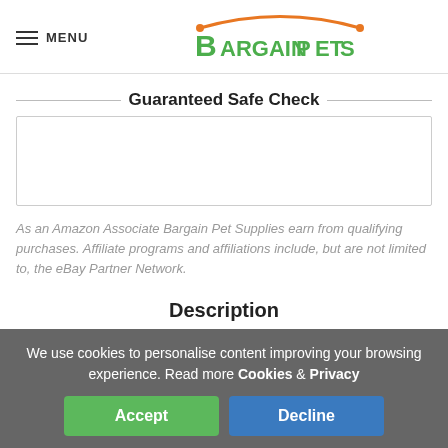MENU | Bargain Pet Supplies
Guaranteed Safe Check
[Figure (other): Guaranteed Safe Check box — empty white box with border]
As an Amazon Associate Bargain Pet Supplies earn from qualifying purchases. Affiliate programs and affiliations include, but are not limited to, the eBay Partner Network.
Description
We use cookies to personalise content improving your browsing experience. Read more Cookies & Privacy
Accept | Decline